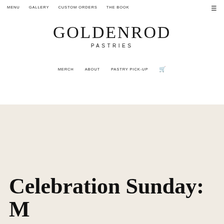MENU   GALLERY   CUSTOM ORDERS   THE BOOK
GOLDENROD
PASTRIES
MERCH   ABOUT   PASTRY PICK-UP
Celebration Sunday: